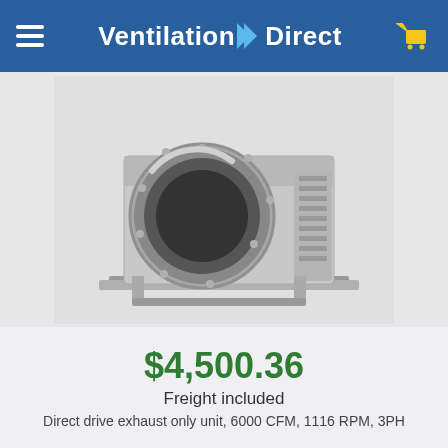Ventilation Direct
[Figure (photo): Industrial centrifugal fan / blower unit, metal construction, with circular inlet and rectangular housing on a base frame, shown in a product photo against light grey background.]
$4,500.36
Freight included
Direct drive exhaust only unit, 6000 CFM, 1116 RPM, 3PH